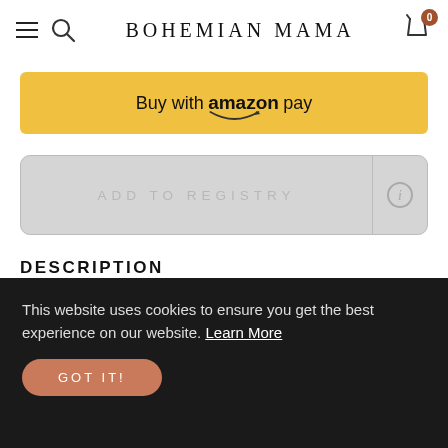BOHEMIAN MAMA
[Figure (screenshot): Buy with amazon pay button - yellow background with amazon logo and smile]
[Figure (screenshot): ADD TO REGISTRY button - gray background with info icon on right]
DESCRIPTION
Shipped from our friends at Lorena Canals
This website uses cookies to ensure you get the best experience on our website. Learn More GOT IT!